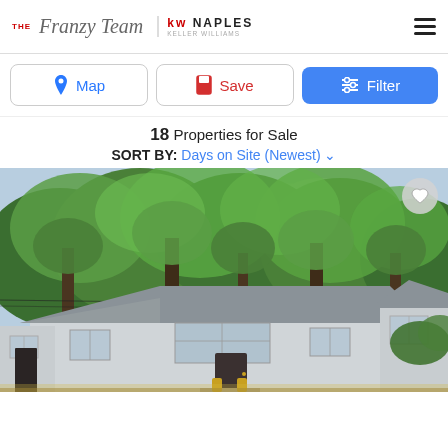THE Franzy Team | KW NAPLES KELLER WILLIAMS
Map | Save | Filter
18 Properties for Sale
SORT BY: Days on Site (Newest)
[Figure (photo): Exterior photo of a single-story ranch-style house with grey siding, white trim windows, surrounded by tall trees with lush green foliage. A heart/favorite button is visible in the top right corner of the photo.]